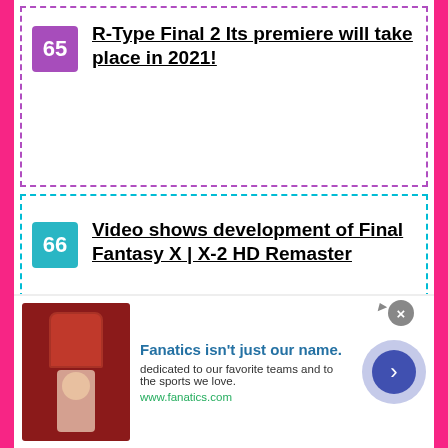65 R-Type Final 2 Its premiere will take place in 2021!
66 Video shows development of Final Fantasy X | X-2 HD Remaster
67 Final Fantasy VII Remake gets new gameplay and will have 2 Blu-Rays
68 Competition: The final hunt for the
[Figure (infographic): Advertisement banner for Fanatics. Shows clothing items (red shirt, person in hat). Headline: Fanatics isn't just our name. Body: dedicated to our favorite teams and to the sports we love. URL: www.fanatics.com. Close button and arrow navigation button visible.]